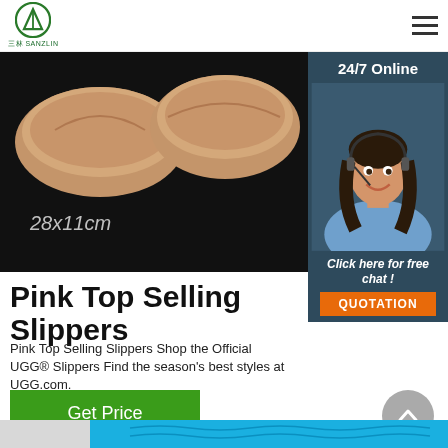三林 SANZLIN logo and hamburger menu
[Figure (photo): Two brown suede slippers photographed from above on a black background, with dimension label '28x11cm' in italic text]
[Figure (infographic): 24/7 Online customer service widget showing a smiling female agent with headset, text 'Click here for free chat!' and an orange QUOTATION button]
Pink Top Selling Slippers
Pink Top Selling Slippers Shop the Official UGG® Slippers Find the season's best styles at UGG.com.
[Figure (other): Green 'Get Price' button]
[Figure (other): Gray circular back-to-top arrow button]
[Figure (photo): Bottom strip showing blue water and white surface — partial image of next section]